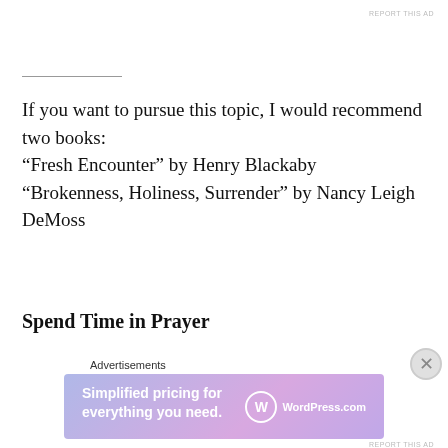REPORT THIS AD
If you want to pursue this topic, I would recommend two books:
“Fresh Encounter” by Henry Blackaby
“Brokenness, Holiness, Surrender” by Nancy Leigh DeMoss
Spend Time in Prayer
Lord Jesus, thank You so much for showing me in Your Word how...
[Figure (screenshot): WordPress.com advertisement banner: 'Simplified pricing for everything you need.' with WordPress.com logo]
Advertisements
REPORT THIS AD